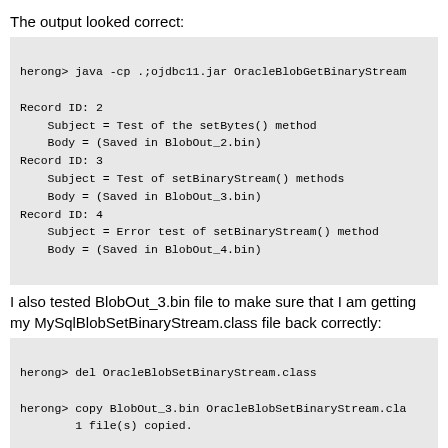The output looked correct:
herong> java -cp .;ojdbc11.jar OracleBlobGetBinaryStream

Record ID: 2
    Subject = Test of the setBytes() method
    Body = (Saved in BlobOut_2.bin)
Record ID: 3
    Subject = Test of setBinaryStream() methods
    Body = (Saved in BlobOut_3.bin)
Record ID: 4
    Subject = Error test of setBinaryStream() method
    Body = (Saved in BlobOut_4.bin)
I also tested BlobOut_3.bin file to make sure that I am getting my MySqlBlobSetBinaryStream.class file back correctly:
herong> del OracleBlobSetBinaryStream.class

herong> copy BlobOut_3.bin OracleBlobSetBinaryStream.cla
        1 file(s) copied.

herong> java -cp .;ojdbc11.jar OracleBlobSetBinaryStr...